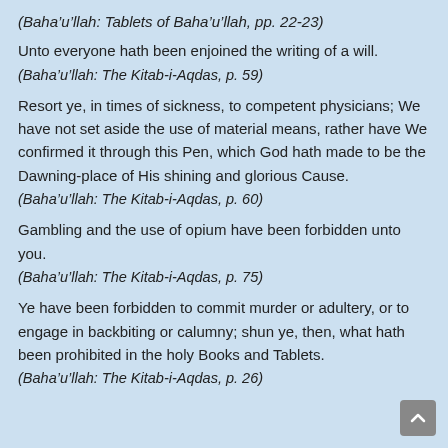(Baha’u’llah: Tablets of Baha’u’llah, pp. 22-23)
Unto everyone hath been enjoined the writing of a will.
(Baha’u’llah: The Kitab-i-Aqdas, p. 59)
Resort ye, in times of sickness, to competent physicians; We have not set aside the use of material means, rather have We confirmed it through this Pen, which God hath made to be the Dawning-place of His shining and glorious Cause.
(Baha’u’llah: The Kitab-i-Aqdas, p. 60)
Gambling and the use of opium have been forbidden unto you.
(Baha’u’llah: The Kitab-i-Aqdas, p. 75)
Ye have been forbidden to commit murder or adultery, or to engage in backbiting or calumny; shun ye, then, what hath been prohibited in the holy Books and Tablets.
(Baha’u’llah: The Kitab-i-Aqdas, p. 26)